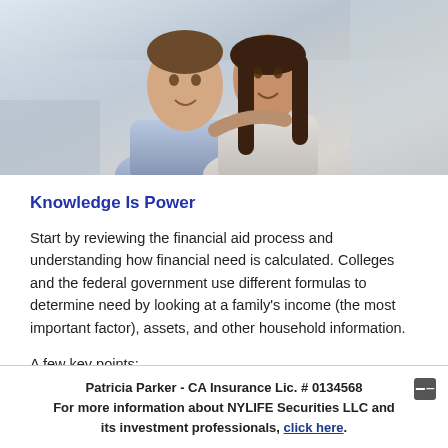[Figure (photo): Photo of a smiling couple, man and woman, in a bright indoor setting.]
Knowledge Is Power
Start by reviewing the financial aid process and understanding how financial need is calculated. Colleges and the federal government use different formulas to determine need by looking at a family's income (the most important factor), assets, and other household information.
A few key points:
Patricia Parker - CA Insurance Lic. # 0134568
For more information about NYLIFE Securities LLC and its investment professionals, click here.